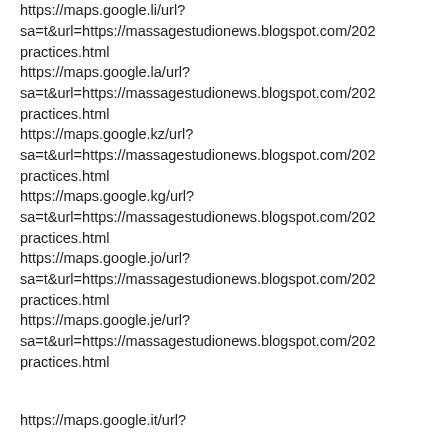https://maps.google.li/url?
sa=t&url=https://massagestudionews.blogspot.com/20…
practices.html
https://maps.google.la/url?
sa=t&url=https://massagestudionews.blogspot.com/20…
practices.html
https://maps.google.kz/url?
sa=t&url=https://massagestudionews.blogspot.com/20…
practices.html
https://maps.google.kg/url?
sa=t&url=https://massagestudionews.blogspot.com/20…
practices.html
https://maps.google.jo/url?
sa=t&url=https://massagestudionews.blogspot.com/20…
practices.html
https://maps.google.je/url?
sa=t&url=https://massagestudionews.blogspot.com/20…
practices.html
https://maps.google.it/url?